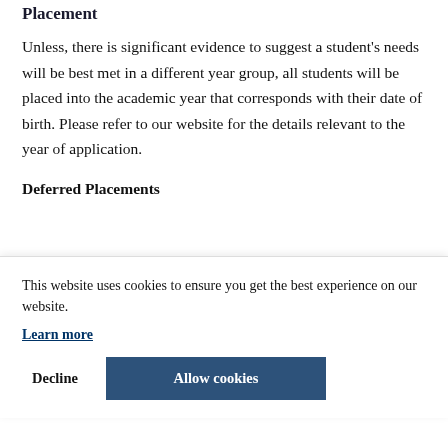Placement
Unless, there is significant evidence to suggest a student's needs will be best met in a different year group, all students will be placed into the academic year that corresponds with their date of birth. Please refer to our website for the details relevant to the year of application.
Deferred Placements
...n the ...ces ...f the ...ear, ...al ...on
This website uses cookies to ensure you get the best experience on our website. Learn more
Decline  Allow cookies